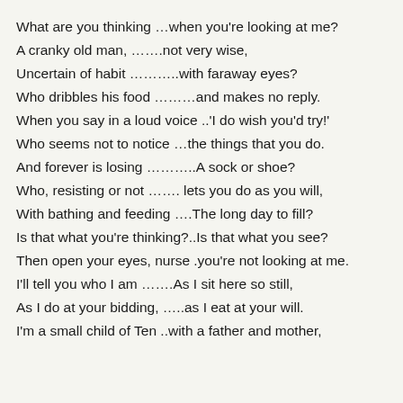What are you thinking …when you're looking at me?
A cranky old man, …….not very wise,
Uncertain of habit ………..with faraway eyes?
Who dribbles his food ………and makes no reply.
When you say in a loud voice ..'I do wish you'd try!'
Who seems not to notice …the things that you do.
And forever is losing ………..A sock or shoe?
Who, resisting or not ……. lets you do as you will,
With bathing and feeding ….The long day to fill?
Is that what you're thinking?..Is that what you see?
Then open your eyes, nurse .you're not looking at me.
I'll tell you who I am …….As I sit here so still,
As I do at your bidding, …..as I eat at your will.
I'm a small child of Ten ..with a father and mother,